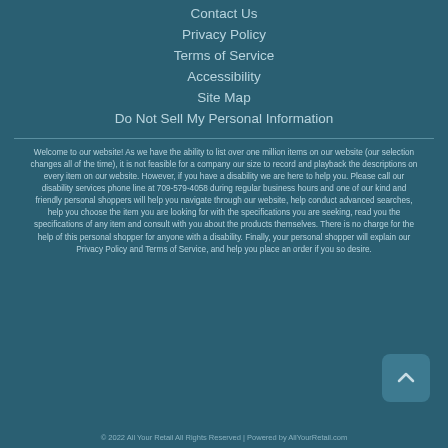Contact Us
Privacy Policy
Terms of Service
Accessibility
Site Map
Do Not Sell My Personal Information
Welcome to our website! As we have the ability to list over one million items on our website (our selection changes all of the time), it is not feasible for a company our size to record and playback the descriptions on every item on our website. However, if you have a disability we are here to help you. Please call our disability services phone line at 709-579-4058 during regular business hours and one of our kind and friendly personal shoppers will help you navigate through our website, help conduct advanced searches, help you choose the item you are looking for with the specifications you are seeking, read you the specifications of any item and consult with you about the products themselves. There is no charge for the help of this personal shopper for anyone with a disability. Finally, your personal shopper will explain our Privacy Policy and Terms of Service, and help you place an order if you so desire.
© 2022 All Your Retail All Rights Reserved | Powered by AllYourRetail.com